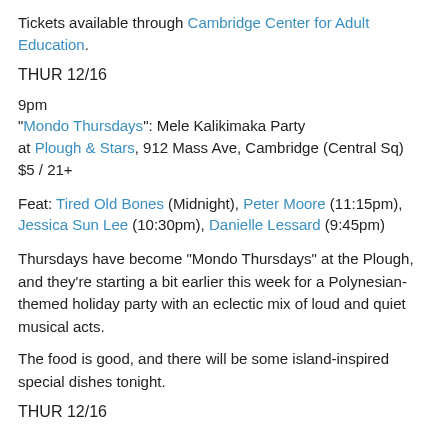Tickets available through Cambridge Center for Adult Education.
THUR 12/16
9pm
"Mondo Thursdays": Mele Kalikimaka Party
at Plough & Stars, 912 Mass Ave, Cambridge (Central Sq)
$5 / 21+
Feat: Tired Old Bones (Midnight), Peter Moore (11:15pm), Jessica Sun Lee (10:30pm), Danielle Lessard (9:45pm)
Thursdays have become "Mondo Thursdays" at the Plough, and they're starting a bit earlier this week for a Polynesian-themed holiday party with an eclectic mix of loud and quiet musical acts.
The food is good, and there will be some island-inspired special dishes tonight.
THUR 12/16